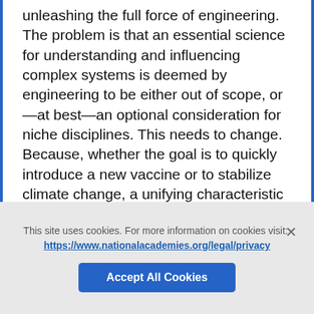unleashing the full force of engineering. The problem is that an essential science for understanding and influencing complex systems is deemed by engineering to be either out of scope, or—at best—an optional consideration for niche disciplines. This needs to change. Because, whether the goal is to quickly introduce a new vaccine or to stabilize climate change, a unifying characteristic of complex systems is that they are driven by human behavior.
Role of Behavioral Science in Engineering
Asking engineering to embrace behavioral
This site uses cookies. For more information on cookies visit: https://www.nationalacademies.org/legal/privacy
Accept All Cookies